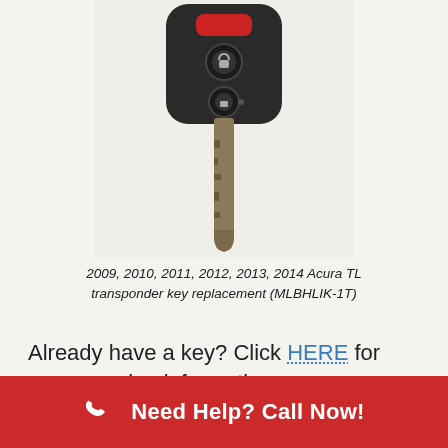[Figure (photo): Photo of a 2009-2014 Acura TL transponder key replacement (MLBHLIK-1T) — a black key fob with red and black buttons at top, and a metal key blade extending downward, on a white background.]
2009, 2010, 2011, 2012, 2013, 2014 Acura TL transponder key replacement (MLBHLIK-1T)
Already have a key? Click HERE for programming information.
Need Help? Call Now!